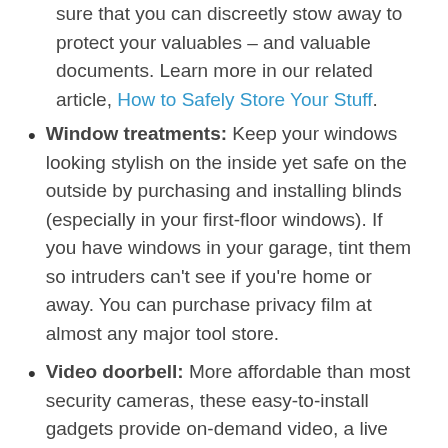sure that you can discreetly stow away to protect your valuables – and valuable documents. Learn more in our related article, How to Safely Store Your Stuff.
Window treatments: Keep your windows looking stylish on the inside yet safe on the outside by purchasing and installing blinds (especially in your first-floor windows). If you have windows in your garage, tint them so intruders can't see if you're home or away. You can purchase privacy film at almost any major tool store.
Video doorbell: More affordable than most security cameras, these easy-to-install gadgets provide on-demand video, a live view of your front porch and motion detection alerts sent straight to your smartphone.